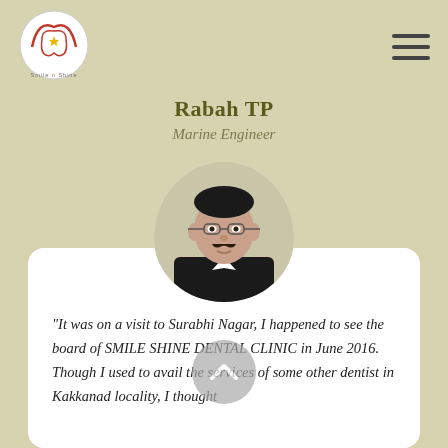[Figure (logo): Smile n Shine dental clinic circular logo with tooth and star design]
Rabah TP
Marine Engineer
[Figure (photo): Portrait photo of a middle-aged man with glasses and mustache wearing a dark suit]
"It was on a visit to Surabhi Nagar, I happened to see the board of SMILE SHINE DENTAL CLINIC in June 2016. Though I used to avail the services of some other dentist in Kakkanad locality, I thought